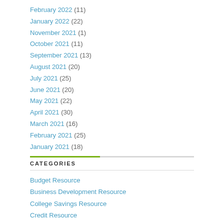February 2022 (11)
January 2022 (22)
November 2021 (1)
October 2021 (11)
September 2021 (13)
August 2021 (20)
July 2021 (25)
June 2021 (20)
May 2021 (22)
April 2021 (30)
March 2021 (16)
February 2021 (25)
January 2021 (18)
CATEGORIES
Budget Resource
Business Development Resource
College Savings Resource
Credit Resource